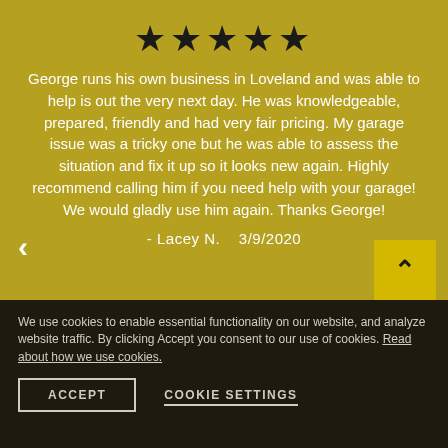[Figure (other): Five black star rating icons centered at top of yellow-green background]
George runs his own business in Loveland and was able to help is out the very next day. He was knowledgeable, prepared, friendly and had very fair pricing. My garage issue was a tricky one but he was able to assess the situation and fix it up so it looks new again. Highly recommend calling him if you need help with your garage! We would gladly use him again. Thanks George!
- Lacey N.    3/9/2020
We use cookies to enable essential functionality on our website, and analyze website traffic. By clicking Accept you consent to our use of cookies. Read about how we use cookies.
ACCEPT
COOKIE SETTINGS